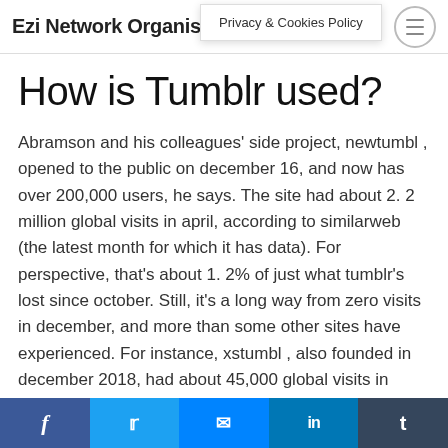Ezi Network Organisation
Privacy & Cookies Policy
How is Tumblr used?
Abramson and his colleagues' side project, newtumbl , opened to the public on december 16, and now has over 200,000 users, he says. The site had about 2. 2 million global visits in april, according to similarweb (the latest month for which it has data). For perspective, that's about 1. 2% of just what tumblr's lost since october. Still, it's a long way from zero visits in december, and more than some other sites have experienced. For instance, xstumbl , also founded in december 2018, had about 45,000 global visits in april, per similarweb–down from its peak of
f  t  messenger  in  t